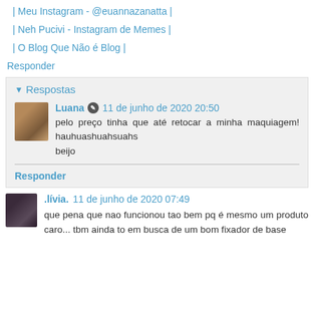| Meu Instagram - @euannazanatta |
| Neh Pucivi - Instagram de Memes |
| O Blog Que Não é Blog |
Responder
Respostas
Luana  11 de junho de 2020 20:50
pelo preço tinha que até retocar a minha maquiagem! hauhuashuahsuahs
beijo
Responder
.lívia.  11 de junho de 2020 07:49
que pena que nao funcionou tao bem pq é mesmo um produto caro... tbm ainda to em busca de um bom fixador de base